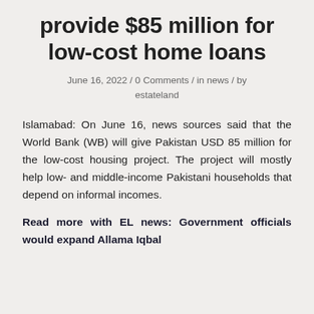provide $85 million for low-cost home loans
June 16, 2022 / 0 Comments / in news / by estateland
Islamabad: On June 16, news sources said that the World Bank (WB) will give Pakistan USD 85 million for the low-cost housing project. The project will mostly help low- and middle-income Pakistani households that depend on informal incomes.
Read more with EL news: Government officials would expand Allama Iqbal